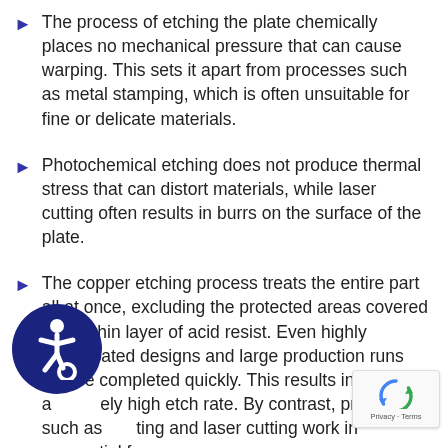The process of etching the plate chemically places no mechanical pressure that can cause warping. This sets it apart from processes such as metal stamping, which is often unsuitable for fine or delicate materials.
Photochemical etching does not produce thermal stress that can distort materials, while laser cutting often results in burrs on the surface of the plate.
The copper etching process treats the entire part all at once, excluding the protected areas covered with a thin layer of acid resist. Even highly complicated designs and large production runs can be completed quickly. This results in a relatively high etch rate. By contrast, processes such as cutting and laser cutting work in sequential fashion, why these processes usually take significantly
Copper etching does not require the kinds of expensive